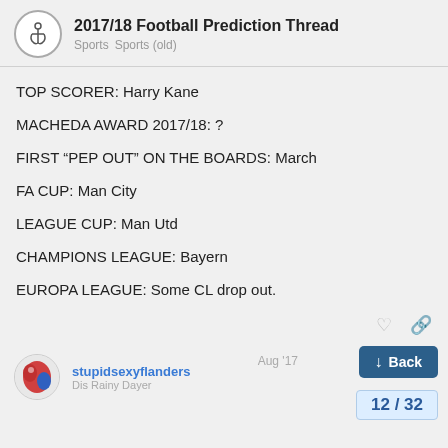2017/18 Football Prediction Thread — Sports · Sports (old)
TOP SCORER: Harry Kane
MACHEDA AWARD 2017/18: ?
FIRST “PEP OUT” ON THE BOARDS: March
FA CUP: Man City
LEAGUE CUP: Man Utd
CHAMPIONS LEAGUE: Bayern
EUROPA LEAGUE: Some CL drop out.
stupidsexyflanders
Dis Rainy Dayer
Aug '17
12 / 32
I assume we’re talking about League 1, ye